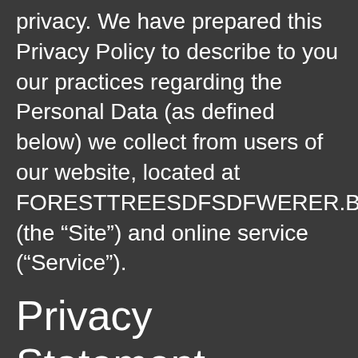privacy. We have prepared this Privacy Policy to describe to you our practices regarding the Personal Data (as defined below) we collect from users of our website, located at FORESTTREESDFSDFWERER.BLOGSPO (the “Site”) and online service (“Service”).
Privacy Statement Overview
Your privacy is important to us and FORESTTREESDFSDFWERER.BLOGSPO is committed to protecting the privacy of its users and the